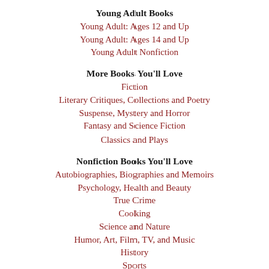Young Adult Books
Young Adult: Ages 12 and Up
Young Adult: Ages 14 and Up
Young Adult Nonfiction
More Books You'll Love
Fiction
Literary Critiques, Collections and Poetry
Suspense, Mystery and Horror
Fantasy and Science Fiction
Classics and Plays
Nonfiction Books You'll Love
Autobiographies, Biographies and Memoirs
Psychology, Health and Beauty
True Crime
Cooking
Science and Nature
Humor, Art, Film, TV, and Music
History
Sports
Business and Current Events
Authors We Love
LGBTQIA+ Authors